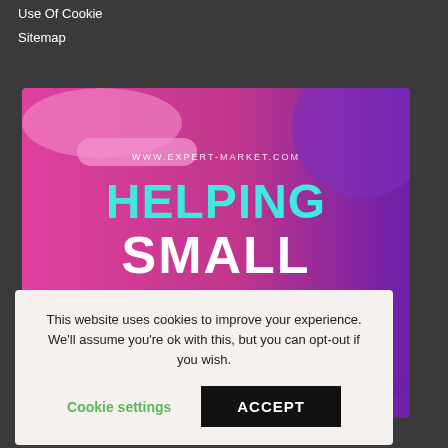Use Of Cookie
Sitemap
[Figure (infographic): Expert-Market.com promotional banner with gradient pink-to-purple background reading 'HELPING SMALL BUSINESSES SUCCEED 2014-2022' in bold colored text]
This website uses cookies to improve your experience. We'll assume you're ok with this, but you can opt-out if you wish.
Cookie settings   ACCEPT